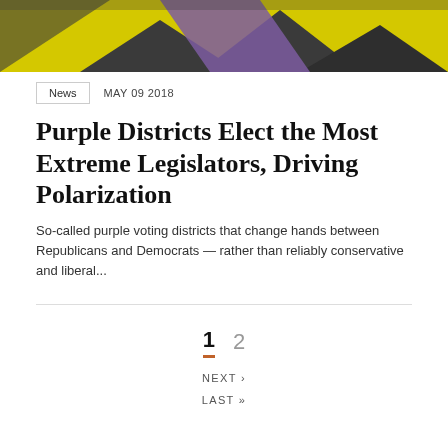[Figure (illustration): Colorful abstract image with yellow, purple, and dark geometric/hexagonal shapes serving as a hero banner image for the article.]
News   MAY 09 2018
Purple Districts Elect the Most Extreme Legislators, Driving Polarization
So-called purple voting districts that change hands between Republicans and Democrats — rather than reliably conservative and liberal...
1  2
NEXT ›
LAST »